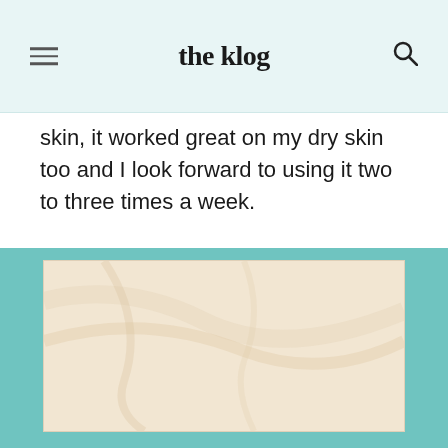the klog
skin, it worked great on my dry skin too and I look forward to using it two to three times a week.
SHARE
[Figure (illustration): A promotional image with a teal/turquoise border containing an inner cream/beige marble-textured background with large bold text 'A-Z' at the bottom center.]